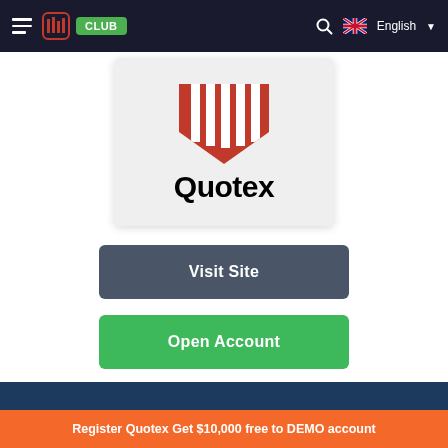≡ [logo] CLUB  🔍 English ▾
[Figure (logo): Quotex logo — red shield/chevron icon above bold 'Quotex' text on light grey card background]
Visit Site
Open Account
🎁 Free Bonus
Register Quotex Get $10,000 free to DEMO account